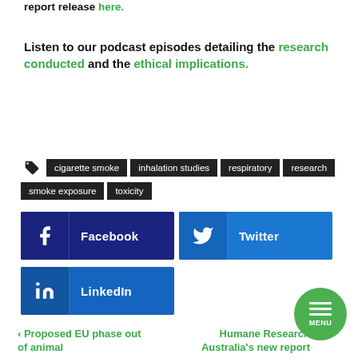report release here.
Listen to our podcast episodes detailing the research conducted and the ethical implications.
cigarette smoke
inhalation studies
respiratory research
smoke exposure
toxicity
[Figure (other): Facebook share button]
[Figure (other): Twitter share button]
[Figure (other): LinkedIn share button]
◀ Proposed EU phase out of animal
Humane Research Australia's new report